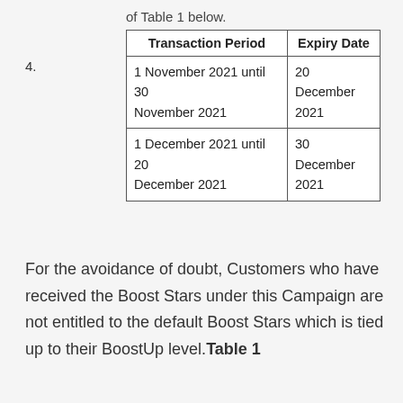of Table 1 below.
4.
| Transaction Period | Expiry Date |
| --- | --- |
| 1 November 2021 until 30 November 2021 | 20 December 2021 |
| 1 December 2021 until 20 December 2021 | 30 December 2021 |
For the avoidance of doubt, Customers who have received the Boost Stars under this Campaign are not entitled to the default Boost Stars which is tied up to their BoostUp level.Table 1